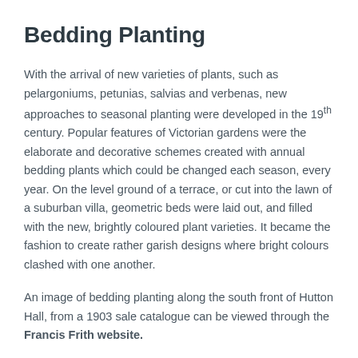Bedding Planting
With the arrival of new varieties of plants, such as pelargoniums, petunias, salvias and verbenas, new approaches to seasonal planting were developed in the 19th century. Popular features of Victorian gardens were the elaborate and decorative schemes created with annual bedding plants which could be changed each season, every year. On the level ground of a terrace, or cut into the lawn of a suburban villa, geometric beds were laid out, and filled with the new, brightly coloured plant varieties. It became the fashion to create rather garish designs where bright colours clashed with one another.
An image of bedding planting along the south front of Hutton Hall, from a 1903 sale catalogue can be viewed through the Francis Frith website.